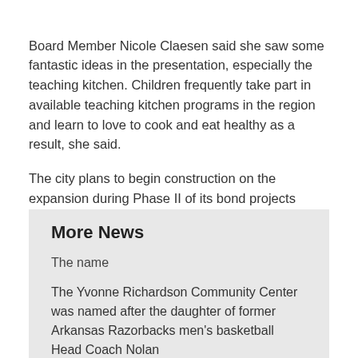Board Member Nicole Claesen said she saw some fantastic ideas in the presentation, especially the teaching kitchen. Children frequently take part in available teaching kitchen programs in the region and learn to love to cook and eat healthy as a result, she said.
The city plans to begin construction on the expansion during Phase II of its bond projects sometime next year.
More News
The name
The Yvonne Richardson Community Center was named after the daughter of former Arkansas Razorbacks men's basketball Head Coach Nolan